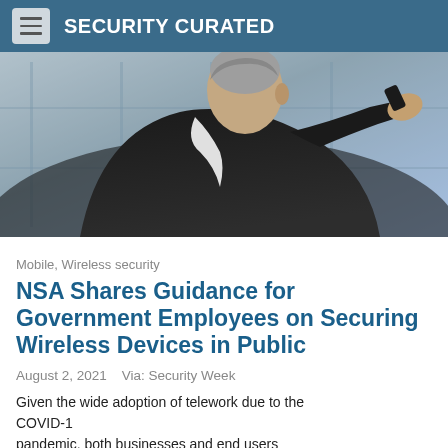SECURITY CURATED
[Figure (photo): Person in dark suit jacket holding a smartphone to their ear, photographed from behind, with blurred window/glass background]
Mobile, Wireless security
NSA Shares Guidance for Government Employees on Securing Wireless Devices in Public
August 2, 2021   Via: Security Week
Given the wide adoption of telework due to the COVID-19 pandemic, both businesses and end users need to ensure increased protection of personal and corporate data, especially